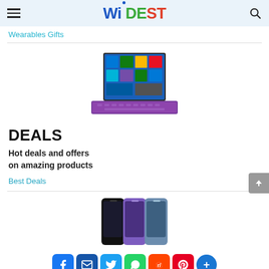Widest — navigation header with hamburger menu and search icon
Wearables Gifts
[Figure (photo): A purple 2-in-1 Windows laptop/tablet with keyboard, showing Windows 10 Start screen on display]
DEALS
Hot deals and offers on amazing products
Best Deals
[Figure (photo): Three Samsung Galaxy S9 smartphones in different colors: black, purple/lilac, and blue/gray]
[Figure (infographic): Social sharing bar with icons: Facebook, Email, Twitter, WhatsApp, Reddit, Pinterest, and a plus/more button]
BEST SELLERS